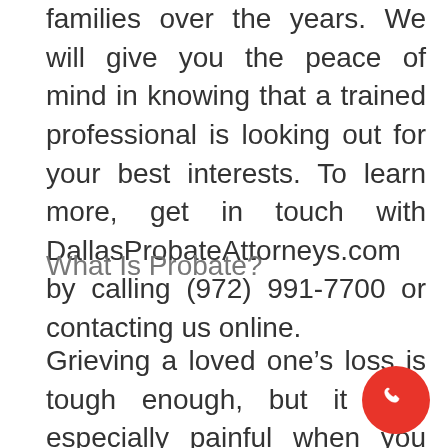families over the years. We will give you the peace of mind in knowing that a trained professional is looking out for your best interests. To learn more, get in touch with DallasProbateAttorneys.com by calling (972) 991-7700 or contacting us online.
What Is Probate?
Grieving a loved one's loss is tough enough, but it gets especially painful when you are involved with funeral arrangements, cleaning out the deceased person's home, determining what to do with all their real and personal property, and handling other thorny legal details affecting multiple family members.